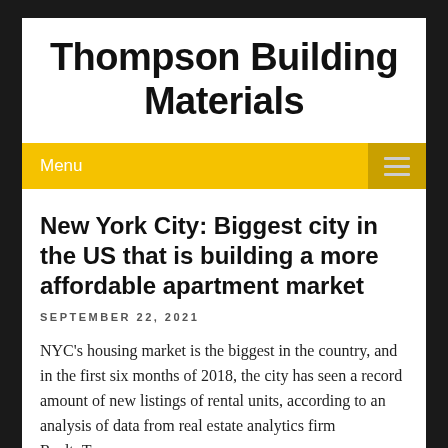Thompson Building Materials
Menu
New York City: Biggest city in the US that is building a more affordable apartment market
SEPTEMBER 22, 2021
NYC's housing market is the biggest in the country, and in the first six months of 2018, the city has seen a record amount of new listings of rental units, according to an analysis of data from real estate analytics firm RealtyTrac.